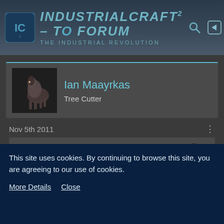IndustrialCraft² - The Forum | The Industrial Revolution
Ian Maayrkas
Tree Cutter
Nov 5th 2011
Quote from lishid
I could, but a few things that I'm concerned of:
1. You will lose everything in your chests when you update.
This site uses cookies. By continuing to browse this site, you are agreeing to our use of cookies.
More Details   Close